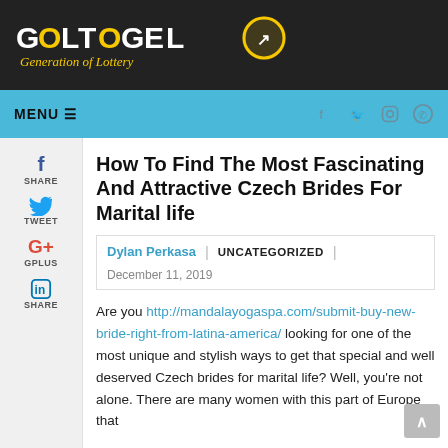GolTogel — Generation of Lottery
MENU
How To Find The Most Fascinating And Attractive Czech Brides For Marital life
Dylan Perkasa | UNCATEGORIZED | December 11, 2019
Are you http://mandalayogaspa.com/submit-buy-new-bride-right-from-latina-america/ looking for one of the most unique and stylish ways to get that special and well deserved Czech brides for marital life? Well, you're not alone. There are many women with this part of Europe that